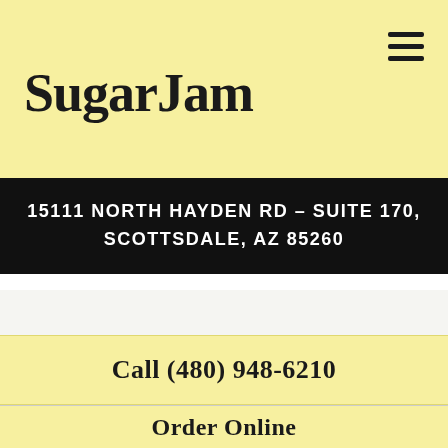SugarJam
15111 NORTH HAYDEN RD – SUITE 170, SCOTTSDALE, AZ 85260
Call (480) 948-6210
Order Online